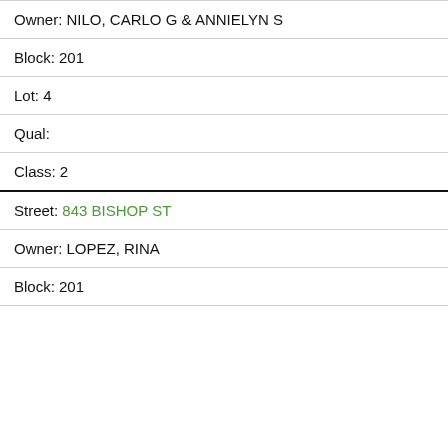Owner: NILO, CARLO G & ANNIELYN S
Block: 201
Lot: 4
Qual:
Class: 2
Street: 843 BISHOP ST
Owner: LOPEZ, RINA
Block: 201